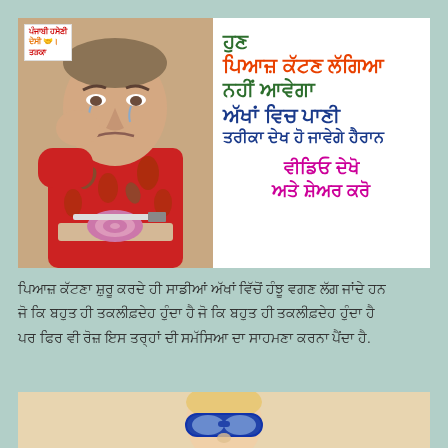[Figure (photo): Banner with photo of man crying while cutting onion on left, Punjabi text on right with logo. Text reads: ਹੁਣ ਪਿਆਜ਼ ਕੱਟਣ ਲੱਗਿਆ ਨਹੀਂ ਆਵੇਗਾ ਅੱਖਾਂ ਵਿਚ ਪਾਣੀ ਤਰੀਕਾ ਦੇਖ ਹੋ ਜਾਵੇਗੇ ਹੈਰਾਨ ਵੀਡਿਓ ਦੇਖੋ ਅਤੇ ਸ਼ੇਅਰ ਕਰੋ]
ਪਿਆਜ਼ ਕੱਟਣਾ ਸ਼ੁਰੂ ਕਰਦੇ ਹੀ ਸਾਡੀਆਂ ਅੱਖਾਂ ਵਿੱਚੋਂ ਹੰਝੂ ਵਗਣ ਲੱਗ ਜਾਂਦੇ ਹਨ ਜੋ ਕਿ ਬਹੁਤ ਹੀ ਤਕਲੀਫ਼ਦੇਹ ਹੁੰਦਾ ਹੈ ਪਰ ਫਿਰ ਵੀ ਰੋਜ਼ ਇਸ ਤਰ੍ਹਾਂ ਦੀ ਸਮੱਸਿਆ ਦਾ ਸਾਹਮਣਾ ਕਰਨਾ ਪੈਂਦਾ ਹੈ.
[Figure (photo): Bottom portion showing a child or person wearing blue goggles/safety glasses, light beige background]